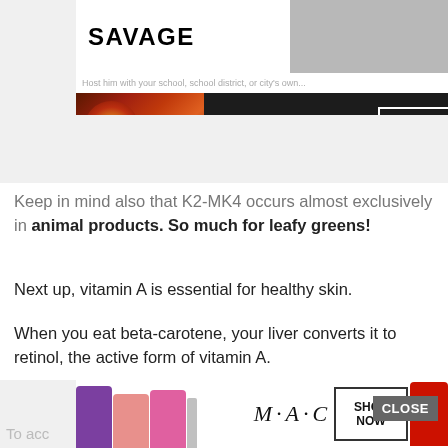[Figure (screenshot): Top of webpage showing 'SAVAGE' heading and a gray image box]
[Figure (screenshot): Seamless food delivery advertisement banner with pizza image, seamless logo in red pill, and ORDER NOW button]
Keep in mind also that K2-MK4 occurs almost exclusively in animal products. So much for leafy greens!
Next up, vitamin A is essential for healthy skin.
When you eat beta-carotene, your liver converts it to retinol, the active form of vitamin A.
Sufficient levels of beta-carotene in your diet and body can help protect your skin from sun damage, and may help prevent obesity and acne .
[Figure (screenshot): MAC cosmetics advertisement banner with lipstick images, MAC logo, SHOP NOW button]
To acc